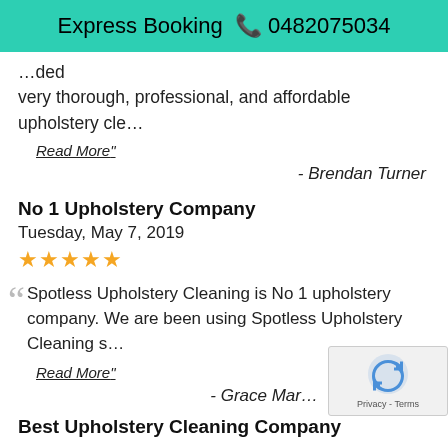Express Booking 📞 0482075034
…ded very thorough, professional, and affordable upholstery cle…
Read More"
- Brendan Turner
No 1 Upholstery Company
Tuesday, May 7, 2019
★★★★★
Spotless Upholstery Cleaning is No 1 upholstery company. We are been using Spotless Upholstery Cleaning s…
Read More"
- Grace Mar…
Best Upholstery Cleaning Company